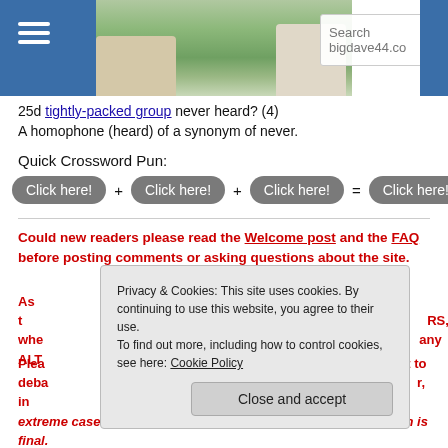[Figure (screenshot): Website header with hamburger menu icon on blue background left, landscape photo in center, search box overlay, blue button on right]
25d tightly-packed group never heard? (4)
A homophone (heard) of a synonym of never.
Quick Crossword Pun:
Click here! + Click here! + Click here! = Click here!
Could new readers please read the Welcome post and the FAQ before posting comments or asking questions about the site.
As t... RS, whe... any ALT...
Plea... ct to deba... r, in extreme cases, deleted. In all cases the administrator's decision is final.
Privacy & Cookies: This site uses cookies. By continuing to use this website, you agree to their use.
To find out more, including how to control cookies, see here: Cookie Policy
Close and accept